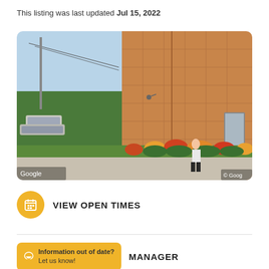This listing was last updated Jul 15, 2022
[Figure (photo): Google Street View photo of a commercial building exterior with terracotta/orange tiled wall panels, tropical landscaping with red and orange croton plants, a person walking on the sidewalk, and parked cars visible on the left. Google watermark in bottom-left and bottom-right corners.]
VIEW OPEN TIMES
Information out of date? Let us know!
MANAGER